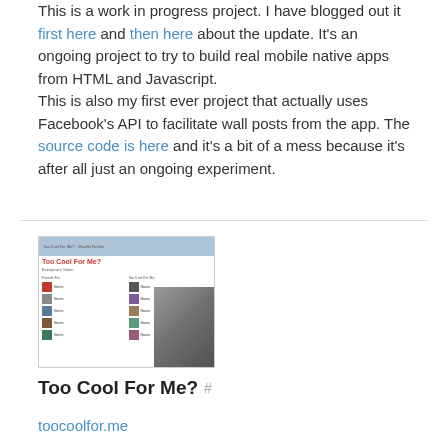This is a work in progress project. I have blogged out it first here and then here about the update. It's an ongoing project to try to build real mobile native apps from HTML and Javascript. This is also my first ever project that actually uses Facebook's API to facilitate wall posts from the app. The source code is here and it's a bit of a mess because it's after all just an ongoing experiment.
[Figure (screenshot): Screenshot of the 'Too Cool For Me?' app showing a Facebook-style profile listing page with two columns of user avatars and names, and a muscular person on the right side.]
Too Cool For Me? #
toocoolfor.me